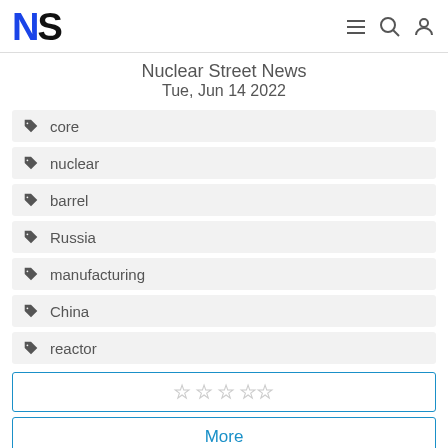NS Nuclear Street News Tue, Jun 14 2022
core
nuclear
barrel
Russia
manufacturing
China
reactor
★★★★★ (empty stars rating)
More